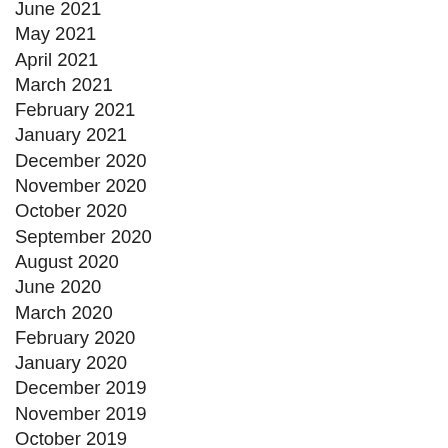June 2021
May 2021
April 2021
March 2021
February 2021
January 2021
December 2020
November 2020
October 2020
September 2020
August 2020
June 2020
March 2020
February 2020
January 2020
December 2019
November 2019
October 2019
September 2019
July 2019
June 2019
May 2019
April 2019